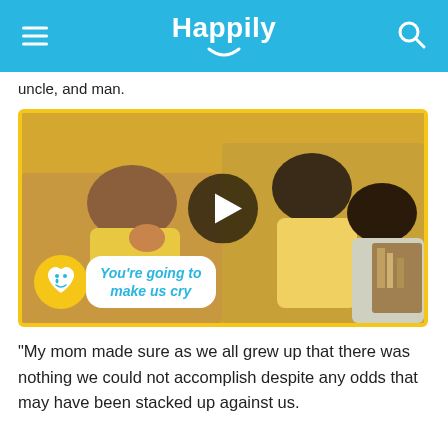Happily
uncle, and man.
[Figure (screenshot): Video thumbnail showing two people in a yellow-walled room with a play button overlay and a badge reading 'You're going to make us cry']
“My mom made sure as we all grew up that there was nothing we could not accomplish despite any odds that may have been stacked up against us.